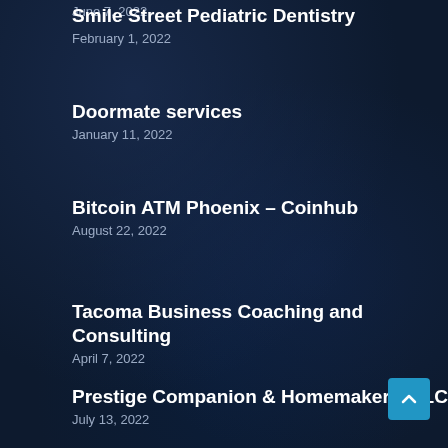June 7, 2022
Smile Street Pediatric Dentistry
February 1, 2022
Doormate services
January 11, 2022
Bitcoin ATM Phoenix – Coinhub
August 22, 2022
Tacoma Business Coaching and Consulting
April 7, 2022
Prestige Companion & Homemakers, LLC
July 13, 2022